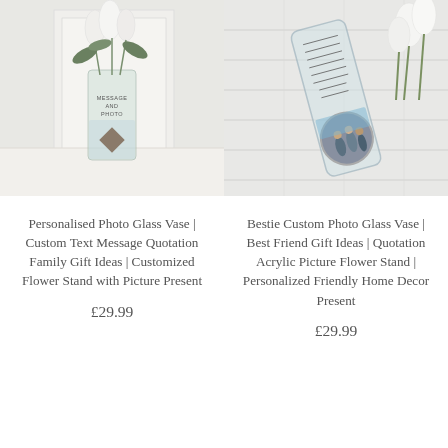[Figure (photo): Personalised photo glass vase with flowers (white tulips and greenery), text MESSAGE AND PHOTO engraved, small photo at bottom.]
[Figure (photo): Bestie custom photo glass vase / acrylic picture stand lying on white tiles with white tulips, with handwritten poem text and circular photo of friends.]
Personalised Photo Glass Vase | Custom Text Message Quotation Family Gift Ideas | Customized Flower Stand with Picture Present
£29.99
Bestie Custom Photo Glass Vase | Best Friend Gift Ideas | Quotation Acrylic Picture Flower Stand | Personalized Friendly Home Decor Present
£29.99